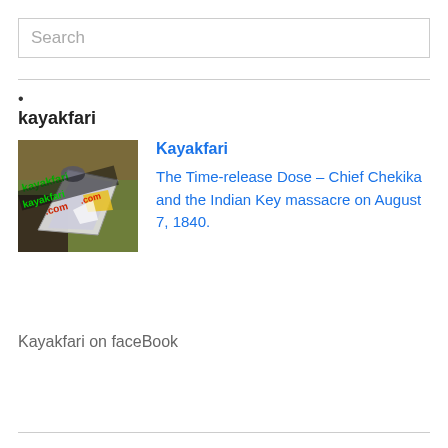Search
•
kayakfari
[Figure (photo): A kayak and paddler seen from above on a grass/dirt surface with kayakfari.com text overlay in green and red]
Kayakfari
The Time-release Dose – Chief Chekika and the Indian Key massacre on August 7, 1840.
Kayakfari on faceBook